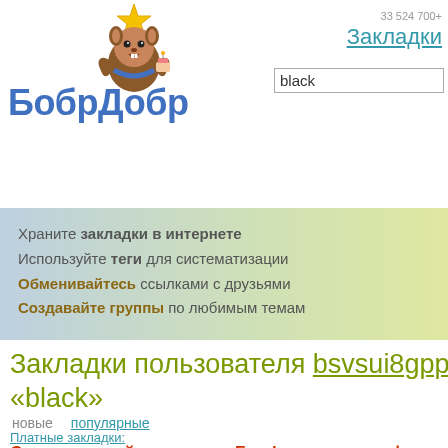[Figure (illustration): БобрДобр logo: cartoon beaver holding a star, blue bold text БобрДобр]
33 524 700+
Закладки
black
Храните закладки в интернете
Используйте теги для систематизации
Обменивайтесь ссылками с друзьями
Создавайте группы по любимым темам
Закладки пользователя bsvsui8gppi с «black»
новые   популярные
реклама
Платные закладки:
Стримы онлайн казино от Franky в прямом эфир